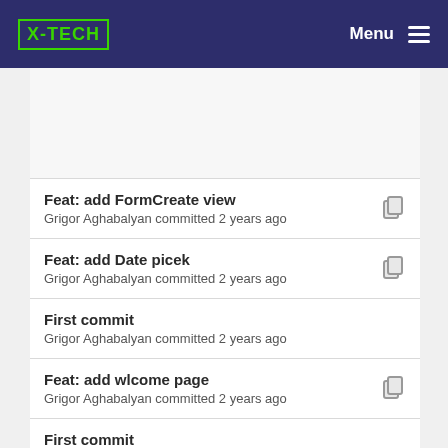X-TECH  Menu
Feat: add FormCreate view
Grigor Aghabalyan committed 2 years ago
Feat: add Date picek
Grigor Aghabalyan committed 2 years ago
First commit
Grigor Aghabalyan committed 2 years ago
Feat: add wlcome page
Grigor Aghabalyan committed 2 years ago
First commit
Grigor Aghabalyan committed 2 years ago
Feat: add Qr view
Grigor Aghabalyan committed 2 years ago